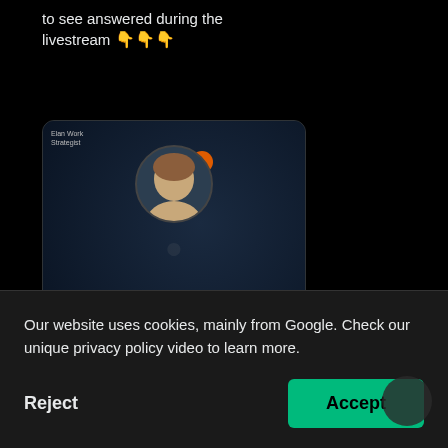to see answered during the livestream 👇👇👇
[Figure (screenshot): Webinar promotional card for 'Is LegalTech Taking a Step Backwards in 2022?' hosted by Axiom Law, showing a man's headshot in a circular frame against a dark background, with date WEDNESDAY, AUGUST 24 | 01:00 PM EST]
axiomlaw.com
Higher Bar Webinar Series | Is LegalTech Taking a Ste...
Our website uses cookies, mainly from Google. Check our unique privacy policy video to learn more.
Reject
Accept